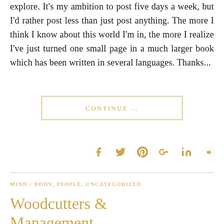explore. It's my ambition to post five days a week, but I'd rather post less than just post anything. The more I think I know about this world I'm in, the more I realize I've just turned one small page in a much larger book which has been written in several languages. Thanks...
CONTINUE ...
[Figure (other): Social sharing icons: Facebook, Twitter, Pinterest, Google+, LinkedIn, Reddit in gold/amber color]
MIND / BODY, PEOPLE, UNCATEGORIZED
Woodcutters & Management